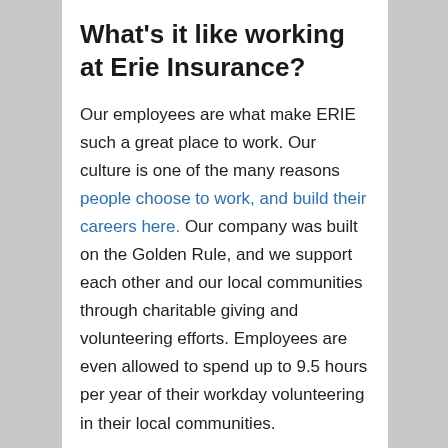What's it like working at Erie Insurance?
Our employees are what make ERIE such a great place to work. Our culture is one of the many reasons people choose to work, and build their careers here. Our company was built on the Golden Rule, and we support each other and our local communities through charitable giving and volunteering efforts. Employees are even allowed to spend up to 9.5 hours per year of their workday volunteering in their local communities.
“One aspect of ERIE that I truly enjoy is being